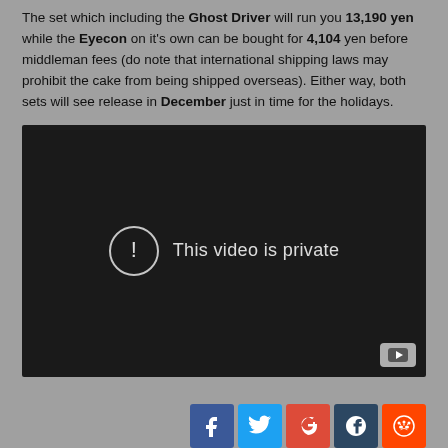The set which including the Ghost Driver will run you 13,190 yen while the Eyecon on it's own can be bought for 4,104 yen before middleman fees (do note that international shipping laws may prohibit the cake from being shipped overseas). Either way, both sets will see release in December just in time for the holidays.
[Figure (screenshot): Embedded video player showing 'This video is private' message with exclamation circle icon on dark background, YouTube icon in bottom-right corner.]